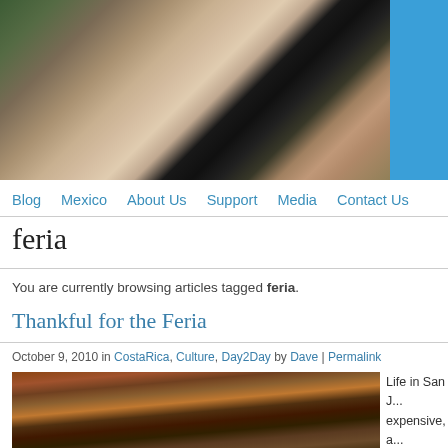[Figure (photo): Family group photo of five adults smiling, standing close together outdoors with trees in background]
Blog | Mexico | About Us | Support | Media | Contact Us
feria
You are currently browsing articles tagged feria.
Thankful for the Feria
October 9, 2010 in CostaRica, Culture, Day2Day by Dave | Permalink
[Figure (photo): Outdoor market or feria scene in San Jose, Costa Rica with stalls and umbrellas]
Life in San J... expensive, a... seems as ac...